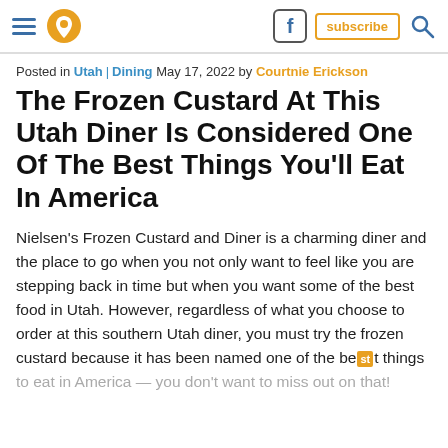Navigation bar with hamburger menu, pin icon, Facebook icon, subscribe button, search icon
Posted in Utah | Dining May 17, 2022 by Courtnie Erickson
The Frozen Custard At This Utah Diner Is Considered One Of The Best Things You'll Eat In America
Nielsen's Frozen Custard and Diner is a charming diner and the place to go when you not only want to feel like you are stepping back in time but when you want some of the best food in Utah. However, regardless of what you choose to order at this southern Utah diner, you must try the frozen custard because it has been named one of the best things to eat in America — you don't want to miss out on that!